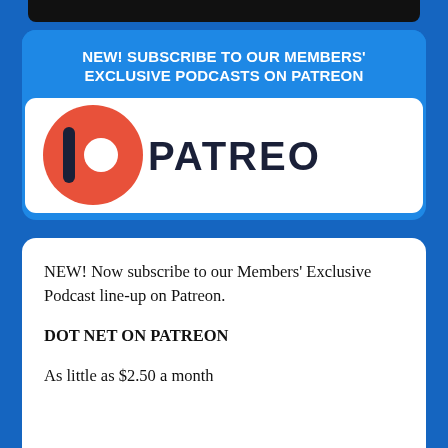NEW! SUBSCRIBE TO OUR MEMBERS' EXCLUSIVE PODCASTS ON PATREON
[Figure (logo): Patreon logo: orange circle with vertical bar and white circle, followed by 'PATREON' in dark navy bold sans-serif text]
NEW! Now subscribe to our Members' Exclusive Podcast line-up on Patreon.
DOT NET ON PATREON
As little as $2.50 a month